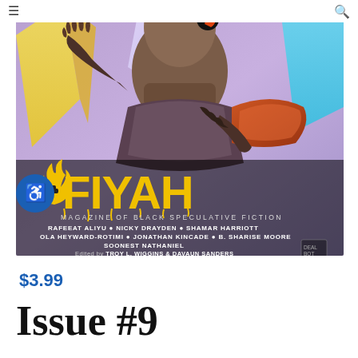[Figure (illustration): FIYAH Magazine of Black Speculative Fiction cover art showing a dark-skinned figure in sci-fi armor raising one hand, surrounded by colorful crystal-like shapes in purple, yellow, and teal. Large yellow FIYAH logo with flame motifs. Text lists contributors: RAFEEAT ALIYU, NICKY DRAYDEN, SHAMAR HARRIOTT, OLA HEYWARD-ROTIMI, JONATHAN KINCADE, B. SHARISE MOORE, SOONEST NATHANIEL. Edited by TROY L. WIGGINS & DAVAUN SANDERS.]
$3.99
Issue #9